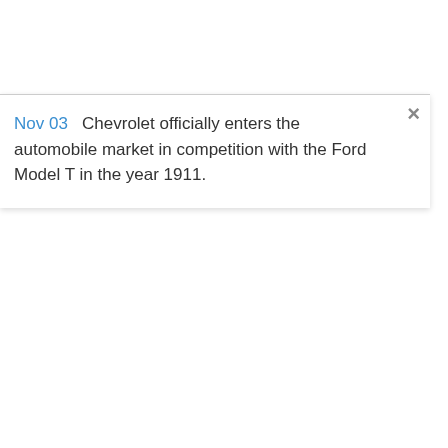Nov 03   Chevrolet officially enters the automobile market in competition with the Ford Model T in the year 1911.